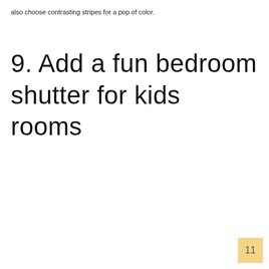also choose contrasting stripes for a pop of color.
9. Add a fun bedroom shutter for kids rooms
11